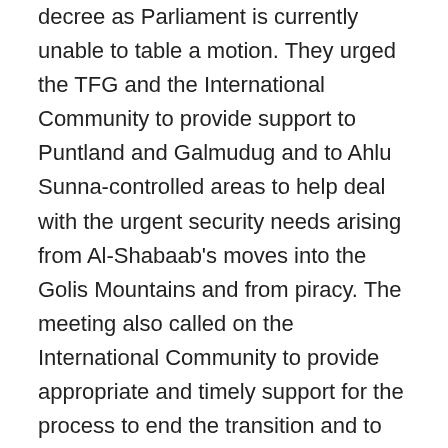decree as Parliament is currently unable to table a motion. They urged the TFG and the International Community to provide support to Puntland and Galmudug and to Ahlu Sunna-controlled areas to help deal with the urgent security needs arising from Al-Shabaab's moves into the Golis Mountains and from piracy. The meeting also called on the International Community to provide appropriate and timely support for the process to end the transition and to that end, lift the arms embargo. One of the problems that the process has faced has been delays in the financing promised by the international community for the Roadmap process. Both Prime Minister Abdiweli and Ambassador Mahiga requested that the promised funds be provided urgently. The meeting also underlined that no delay or obstruction would be accepted by either the Somali people or the International Community. Some TFG officials have